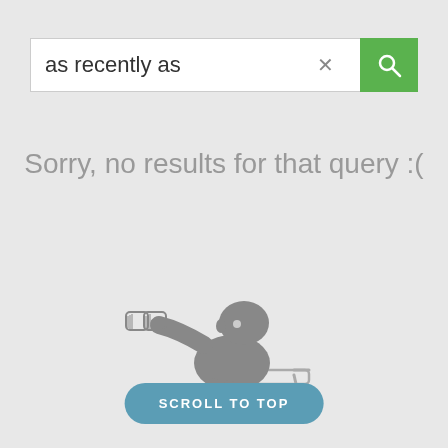[Figure (screenshot): Search bar with text 'as recently as', an X clear button, and a green search button with magnifying glass icon]
Sorry, no results for that query :(
[Figure (illustration): Grayscale cartoon illustration of a bald man sitting on a chair and looking through binoculars]
SCROLL TO TOP